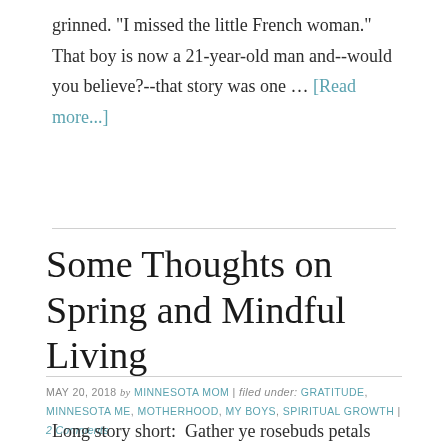grinned. "I missed the little French woman." That boy is now a 21-year-old man and--would you believe?--that story was one … [Read more...]
Some Thoughts on Spring and Mindful Living
MAY 20, 2018 by MINNESOTA MOM | filed under: GRATITUDE, MINNESOTA ME, MOTHERHOOD, MY BOYS, SPIRITUAL GROWTH | 2 Comments
Long story short:  Gather ye rosebuds petals